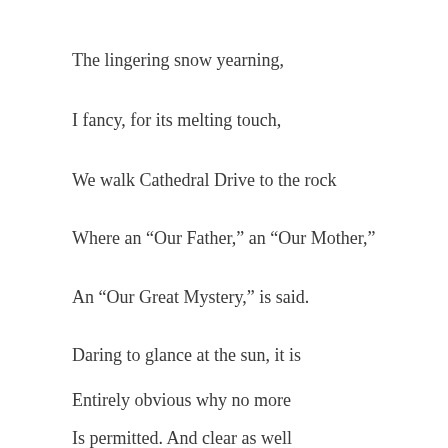The lingering snow yearning,
I fancy, for its melting touch,
We walk Cathedral Drive to the rock
Where an “Our Father,” an “Our Mother,”
An “Our Great Mystery,” is said.
Daring to glance at the sun, it is
Entirely obvious why no more
Is permitted. And clear as well